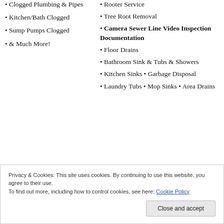Clogged Plumbing & Pipes
Kitchen/Bath Clogged
Sump Pumps Clogged
& Much More!
Rooter Service
Tree Root Removal
Camera Sewer Line Video Inspection Documentation
Floor Drains
Bathroom Sink & Tubs & Showers
Kitchen Sinks • Garbage Disposal
Laundry Tubs • Mop Sinks • Area Drains
Privacy & Cookies: This site uses cookies. By continuing to use this website, you agree to their use. To find out more, including how to control cookies, see here: Cookie Policy
Close and accept